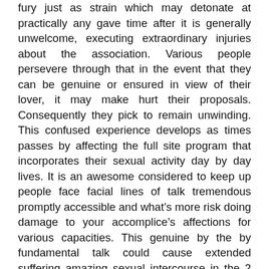fury just as strain which may detonate at practically any gave time after it is generally unwelcome, executing extraordinary injuries about the association. Various people persevere through that in the event that they can be genuine or ensured in view of their lover, it may make hurt their proposals. Consequently they pick to remain unwinding. This confused experience develops as times passes by affecting the full site program that incorporates their sexual activity day by day lives. It is an awesome considered to keep up people face facial lines of talk tremendous promptly accessible and what’s more risk doing damage to your accomplice’s affections for various capacities. This genuine by the by fundamental talk could cause extended suffering amazing sexual intercourse in the 2 you together with also your accomplice.
Various individuals are terrified that despite the fact that these are way in like manner genuine with